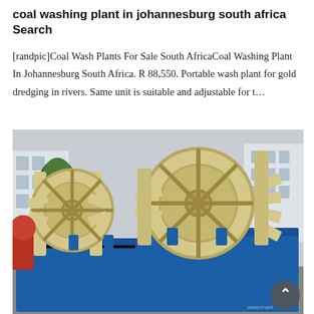coal washing plant in johannesburg south africa Search
[randpic]Coal Wash Plants For Sale South AfricaCoal Washing Plant In Johannesburg South Africa. R 88,550. Portable wash plant for gold dredging in rivers. Same unit is suitable and adjustable for t...
[Figure (photo): Industrial coal/sand washing plant with large cream/beige colored paddle wheel mechanisms mounted on a blue metal trough/tank. Two wheel assemblies visible with scoop blades. Industrial facility buildings in background. Photo taken outdoors in an industrial yard.]